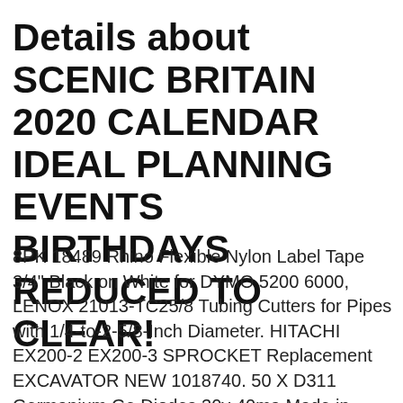Details about  SCENIC BRITAIN 2020 CALENDAR IDEAL PLANNING EVENTS BIRTHDAYS REDUCED TO CLEAR!
8PK 18489 Rhino Flexible Nylon Label Tape 3/4" Black on White for DYMO 5200 6000, LENOX 21013-TC25/8 Tubing Cutters for Pipes with 1/4-to-2-5/8-Inch Diameter. HITACHI EX200-2 EX200-3 SPROCKET Replacement EXCAVATOR NEW 1018740. 50 X D311 Germanium Ge Diodes 30v 40ma Made in USSR NOS for sale online. 1PCS NEW